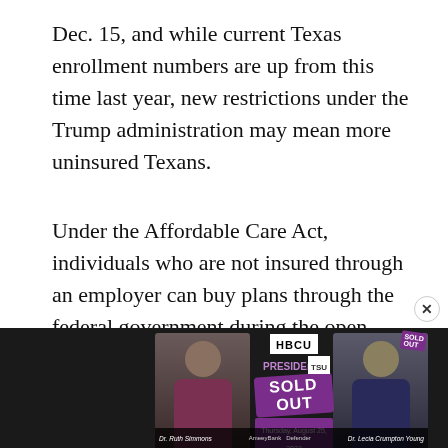Dec. 15, and while current Texas enrollment numbers are up from this time last year, new restrictions under the Trump administration may mean more uninsured Texans.
Under the Affordable Care Act, individuals who are not insured through an employer can buy plans through the federal government during the open enrollment period. In 2016, that period ran from Nov. 1 to Jan. 31 – but this year, it's been cut in half to end Friday, Dec. 15.
[Figure (photo): Advertisement banner showing two women (Dr. Ruth Simmons and Dr. Lecia Crumpton Young) with HBCU Presidents event information and a 'SOLD OUT' overlay in purple, dated Thursday, August 25, 2022]